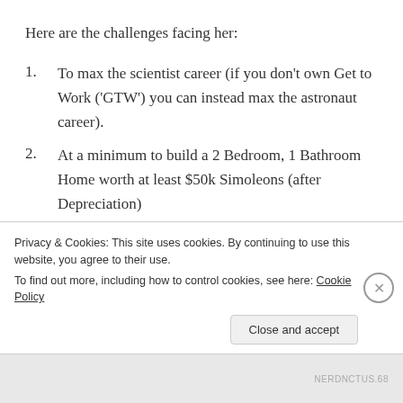Here are the challenges facing her:
1. To max the scientist career (if you don't own Get to Work ('GTW') you can instead max the astronaut career).
2. At a minimum to build a 2 Bedroom, 1 Bathroom Home worth at least $50k Simoleons (after Depreciation)
3. To achieve level 10 of the Rocket Science skill
4. To travel to space and bring back 3 unique Space
Privacy & Cookies: This site uses cookies. By continuing to use this website, you agree to their use.
To find out more, including how to control cookies, see here: Cookie Policy
Close and accept